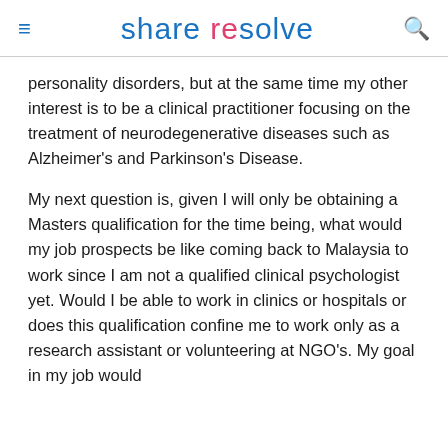share resolve
personality disorders, but at the same time my other interest is to be a clinical practitioner focusing on the treatment of neurodegenerative diseases such as Alzheimer's and Parkinson's Disease.
My next question is, given I will only be obtaining a Masters qualification for the time being, what would my job prospects be like coming back to Malaysia to work since I am not a qualified clinical psychologist yet. Would I be able to work in clinics or hospitals or does this qualification confine me to work only as a research assistant or volunteering at NGO's. My goal in my job would